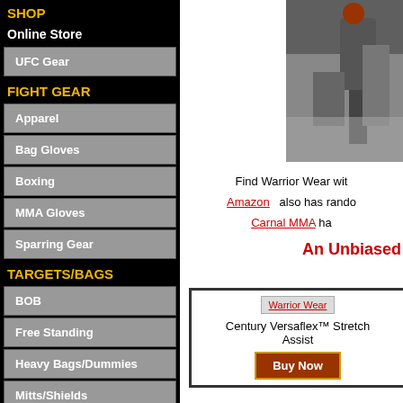SHOP
Online Store
UFC Gear
FIGHT GEAR
Apparel
Bag Gloves
Boxing
MMA Gloves
Sparring Gear
TARGETS/BAGS
BOB
Free Standing
Heavy Bags/Dummies
Mitts/Shields
FIGHTERS
[Figure (photo): Two fighters in martial arts competition, one grabbing the other's wrist]
Find Warrior Wear wit
Amazon   also has rando
Carnal MMA ha
An Unbiased
[Figure (other): Warrior Wear product box with Century Versaflex Stretch Assist and Buy Now button]